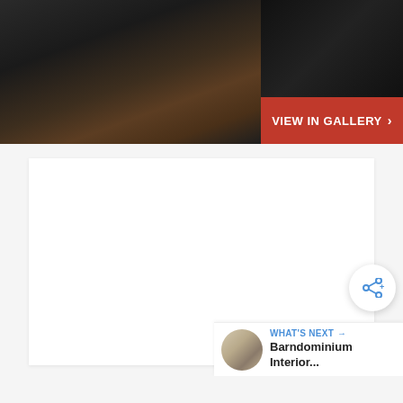[Figure (photo): Interior photo showing dark wood staircase/flooring with dark walls, partially visible]
VIEW IN GALLERY ›
[Figure (other): Large white/light gray content area (advertisement or content block)]
[Figure (other): Share button - circular white button with share icon]
WHAT'S NEXT → Barndominium Interior...